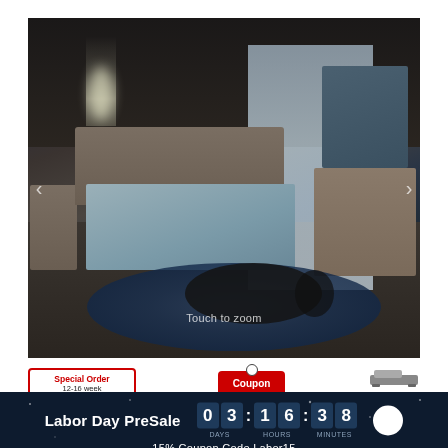[Figure (photo): Modern luxury bedroom set with dark walnut platform bed, matching nightstands, dresser with mirror, crystal chandelier, blue area rug, and coffee tables on a dark background]
Touch to zoom
Special Order 12-16 week required
Coupon Available
adjustable bed compatible
Labor Day PreSale
03 16:38 DAYS HOURS MINUTES
15% Coupon Code Labor15